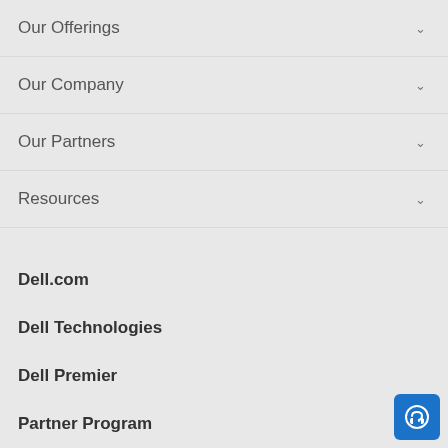Our Offerings
Our Company
Our Partners
Resources
Dell.com
Dell Technologies
Dell Premier
Partner Program
Support